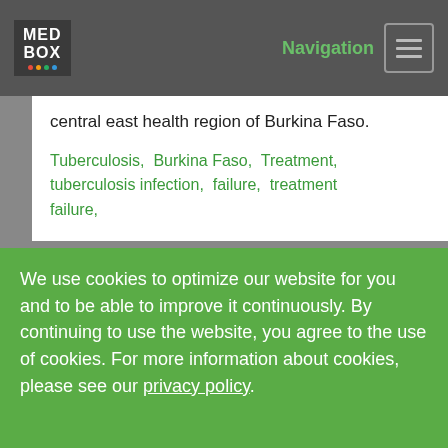MED BOX  Navigation
central east health region of Burkina Faso.
Tuberculosis,  Burkina Faso,  Treatment,  tuberculosis infection,  failure,  treatment failure,
Source:  https://www.panafrican-med-...
We use cookies to optimize our website for you and to be able to improve it continuously. By continuing to use the website, you agree to the use of cookies. For more information about cookies, please see our privacy policy.
Reject   Accepted
[Figure (logo): medmissio Institute for Global Health logo]
HOME   CONTACT   LEGAL NOTICE   FAQ   ABOUT   SITEMAP